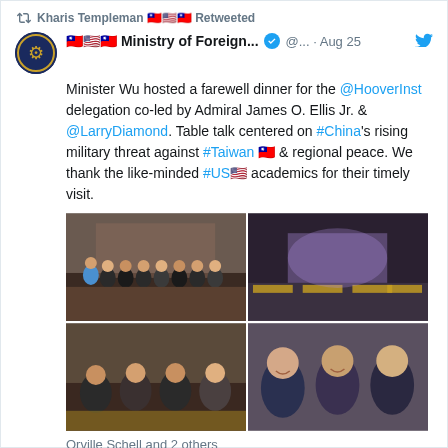Kharis Templeman 🇹🇼🇺🇸🇹🇼 Retweeted
🇹🇼🇺🇸🇹🇼 Ministry of Foreign... ✓ @... · Aug 25
Minister Wu hosted a farewell dinner for the @HooverInst delegation co-led by Admiral James O. Ellis Jr. & @LarryDiamond. Table talk centered on #China's rising military threat against #Taiwan 🇹🇼 & regional peace. We thank the like-minded #US🇺🇸 academics for their timely visit.
[Figure (photo): Four photos in a 2x2 grid: top-left shows a group of people in masks posing for a photo; top-right shows a formal dinner banquet hall; bottom-left shows people seated at a dinner table in conversation; bottom-right shows older men in suits smiling.]
Orville Schell and 2 others
💬 54  ♡ 862